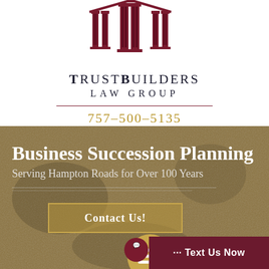[Figure (logo): TrustBuilders Law Group logo with three dark red columns/pillars forming a pediment shape]
TrustBuilders Law Group
757-500-5135
Business Succession Planning
Serving Hampton Roads for Over 100 Years
Contact Us!
··· Text Us Now